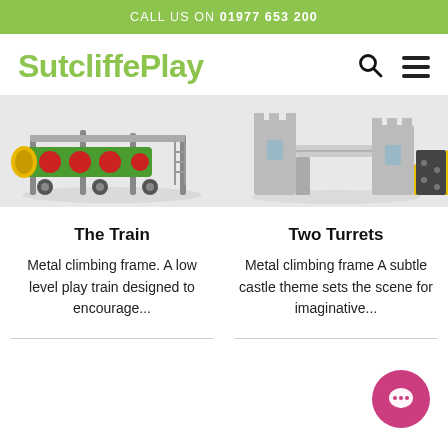CALL US ON 01977 653 200
SutcliffePlay
[Figure (illustration): 3D render of a metal climbing frame shaped like a train, with red circular elements and green/grey structure on a light background]
[Figure (illustration): 3D render of a metal climbing frame with a castle theme, featuring grey towers, yellow ramp and dark climbing wall on a light background]
The Train
Metal climbing frame. A low level play train designed to encourage...
Two Turrets
Metal climbing frame A subtle castle theme sets the scene for imaginative...